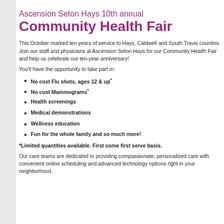Ascension Seton Hays 10th annual Community Health Fair
This October marked ten years of service to Hays, Caldwell and South Travis counties. Join our staff and physicians at Ascension Seton Hays for our Community Health Fair and help us celebrate our ten-year anniversary!
You'll have the opportunity to take part in:
No cost Flu shots, ages 12 & up*
No cost Mammograms*
Health screenings
Medical demonstrations
Wellness education
Fun for the whole family and so much more!
*Limited quantities available. First come first serve basis.
Our care teams are dedicated to providing compassionate, personalized care with convenient online scheduling and advanced technology options right in your neighborhood.